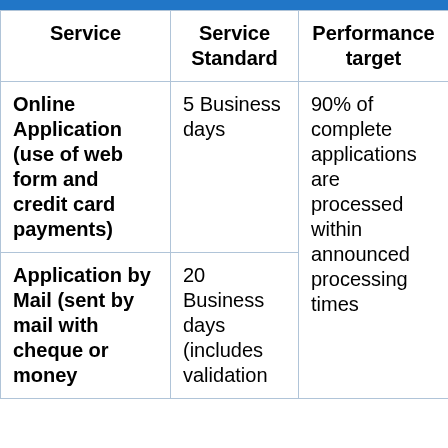| Service | Service Standard | Performance target |
| --- | --- | --- |
| Online Application (use of web form and credit card payments) | 5 Business days | 90% of complete applications are processed within announced processing times |
| Application by Mail (sent by mail with cheque or money | 20 Business days (includes validation |  |